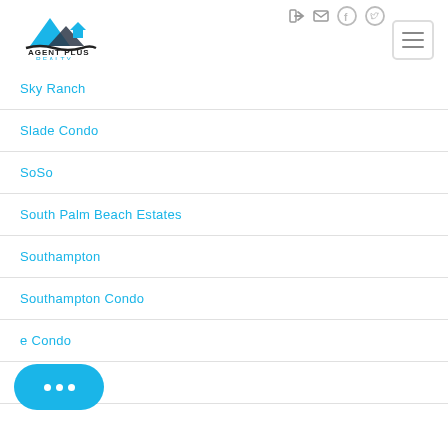[Figure (logo): Agent Plus Realty logo with mountain/house icon and text AGENT PLUS REALTY]
Sky Ranch
Slade Condo
SoSo
South Palm Beach Estates
Southampton
Southampton Condo
e Condo
Southerly Hill